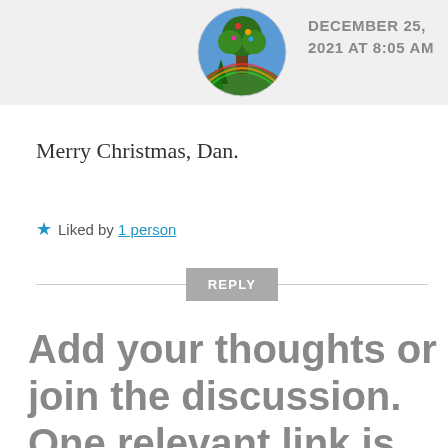[Figure (illustration): Circular avatar image showing a decorative folk-art style illustration of a tree with colorful elements against a blue/green background]
DECEMBER 25, 2021 AT 8:05 AM
Merry Christmas, Dan.
★ Liked by 1 person
REPLY
Add your thoughts or join the discussion. One relevant link is OK, more require moderation. Markdown is supported